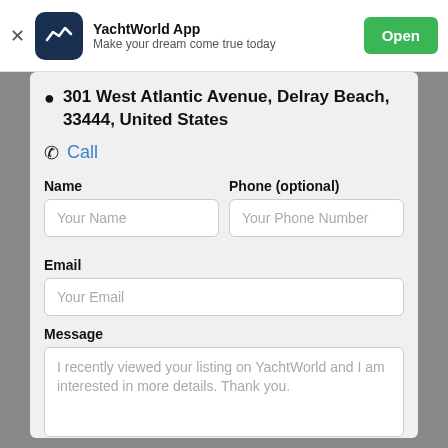[Figure (screenshot): App banner with YachtWorld logo, app name, tagline, and Open button]
301 West Atlantic Avenue, Delray Beach, 33444, United States
Call
Name
Your Name
Phone (optional)
Your Phone Number
Email
Your Email
Message
I recently viewed your listing on YachtWorld and I am interested in more details. Thank you.
Contact Broker